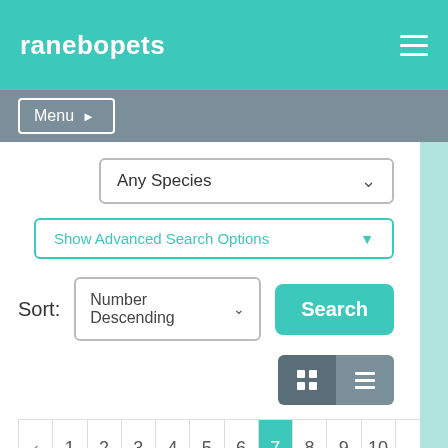ranebopets
Menu ▶
Any Species
Show Advanced Search Options
Sort: Number Descending
Search
‹ 1 2 3 4 5 6 7 8 9 10 ...